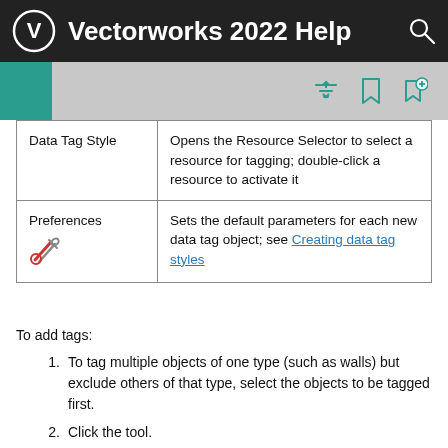Vectorworks 2022 Help
|  |  |
| --- | --- |
| Data Tag Style | Opens the Resource Selector to select a resource for tagging; double-click a resource to activate it |
| Preferences [icon] | Sets the default parameters for each new data tag object; see Creating data tag styles |
To add tags:
1. To tag multiple objects of one type (such as walls) but exclude others of that type, select the objects to be tagged first.
2. Click the tool.